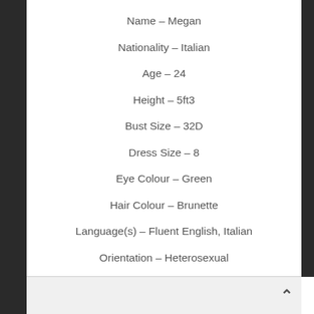Name – Megan
Nationality – Italian
Age – 24
Height – 5ft3
Bust Size – 32D
Dress Size – 8
Eye Colour – Green
Hair Colour – Brunette
Language(s) – Fluent English, Italian
Orientation – Heterosexual
Escort Services – GFE, Party Girl, Luxury Dinner Date, Visiting